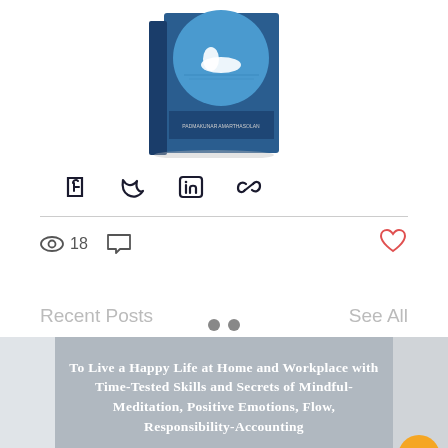[Figure (photo): A 3D book cover showing a swan on a blue lake, with text about mindfulness and positive emotions]
[Figure (infographic): Share bar with Facebook, Twitter, LinkedIn, and link icons]
18 views, comment icon, like (heart) button
Recent Posts
See All
[Figure (photo): Preview strip of a blog post: To Live a Happy Life at Home and Workplace with Time-Tested Skills and Secrets of Mindful-Meditation, Positive Emotions, Flow, Responsibility-Accounting]